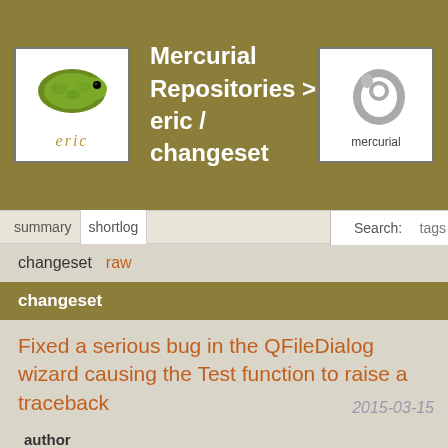Mercurial Repositories > eric / changeset
summary  shortlog  tags  Search
changeset  raw
changeset
Fixed a serious bug in the QFileDialog wizard causing the Test function to raise a traceback
2015-03-15
author
Detlev Offenbach <detlev@die-offenbachs.de>
date